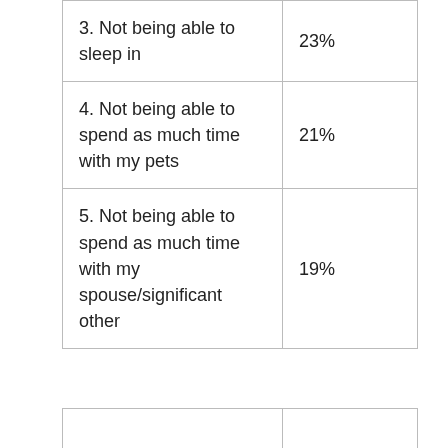| 3. Not being able to sleep in | 23% |
| 4. Not being able to spend as much time with my pets | 21% |
| 5. Not being able to spend as much time with my spouse/significant other | 19% |